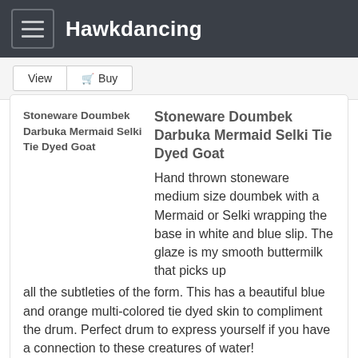Hawkdancing
[Figure (screenshot): View and Buy buttons]
Stoneware Doumbek Darbuka Mermaid Selki Tie Dyed Goat
Hand thrown stoneware medium size doumbek with a Mermaid or Selki wrapping the base in white and blue slip. The glaze is my smooth buttermilk that picks up all the subtleties of the form. This has a beautiful blue and orange multi-colored tie dyed skin to compliment the drum. Perfect drum to express yourself if you have a connection to these creatures of water!
This middle Eastern belly dance style drum includes a clay strap lug mounted at the balance point, so just add